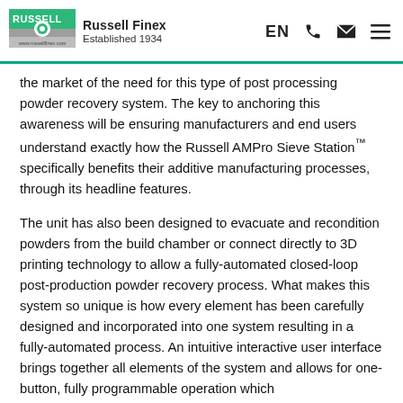Russell Finex — Established 1934
the market of the need for this type of post processing powder recovery system. The key to anchoring this awareness will be ensuring manufacturers and end users understand exactly how the Russell AMPro Sieve Station™ specifically benefits their additive manufacturing processes, through its headline features.
The unit has also been designed to evacuate and recondition powders from the build chamber or connect directly to 3D printing technology to allow a fully-automated closed-loop post-production powder recovery process. What makes this system so unique is how every element has been carefully designed and incorporated into one system resulting in a fully-automated process. An intuitive interactive user interface brings together all elements of the system and allows for one-button, fully programmable operation which